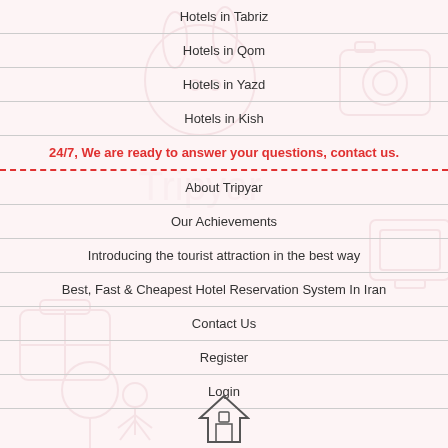Hotels in Tabriz
Hotels in Qom
Hotels in Yazd
Hotels in Kish
24/7, We are ready to answer your questions, contact us.
About Tripyar
Our Achievements
Introducing the tourist attraction in the best way
Best, Fast & Cheapest Hotel Reservation System In Iran
Contact Us
Register
Login
[Figure (illustration): Background watermark illustration with travel/hotel icons (house, camera, rabbit, suitcase) in light pink, and a small house/hotel icon at the bottom center]